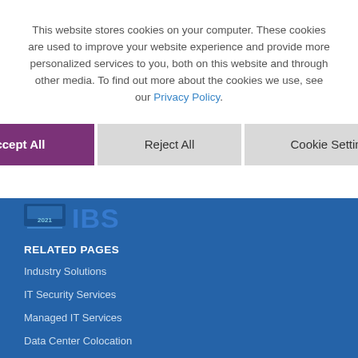This website stores cookies on your computer. These cookies are used to improve your website experience and provide more personalized services to you, both on this website and through other media. To find out more about the cookies we use, see our Privacy Policy.
Accept All
Reject All
Cookie Settings
[Figure (logo): IBS 2021 company logo in blue footer area]
RELATED PAGES
Industry Solutions
IT Security Services
Managed IT Services
Data Center Colocation